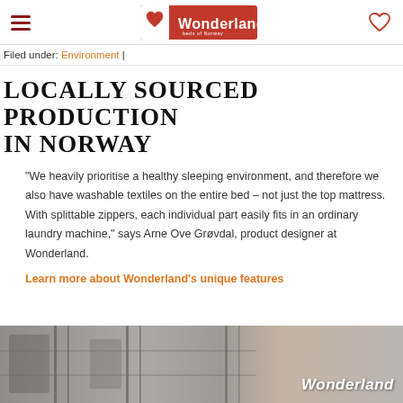Wonderland beds of Norway
Filed under: Environment |
LOCALLY SOURCED PRODUCTION IN NORWAY
"We heavily prioritise a healthy sleeping environment, and therefore we also have washable textiles on the entire bed – not just the top mattress. With splittable zippers, each individual part easily fits in an ordinary laundry machine," says Arne Ove Grøvdal, product designer at Wonderland.
Learn more about Wonderland's unique features
[Figure (photo): Grayscale photograph of bed zippers/textiles with Wonderland logo watermark in bottom right]